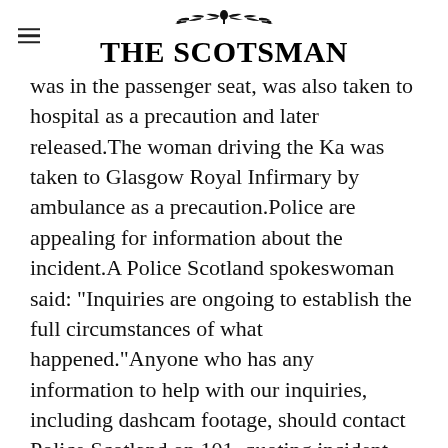THE SCOTSMAN
was in the passenger seat, was also taken to hospital as a precaution and later released.The woman driving the Ka was taken to Glasgow Royal Infirmary by ambulance as a precaution.Police are appealing for information about the incident.A Police Scotland spokeswoman said: "Inquiries are ongoing to establish the full circumstances of what happened."Anyone who has any information to help with our inquiries, including dashcam footage, should contact Police Scotland on 101, quoting incident 3311 of Monday, 20 January."A Glasgow City Council spokeswoman said: "Unfortunately, a